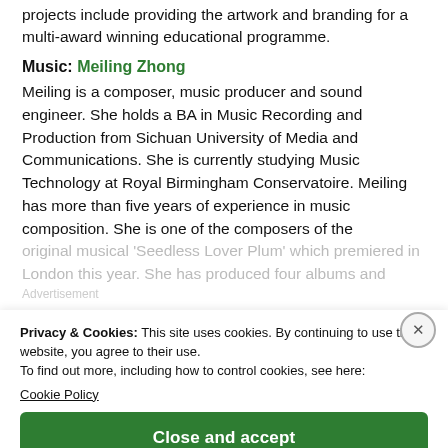projects include providing the artwork and branding for a multi-award winning educational programme.
Music: Meiling Zhong
Meiling is a composer, music producer and sound engineer. She holds a BA in Music Recording and Production from Sichuan University of Media and Communications. She is currently studying Music Technology at Royal Birmingham Conservatoire. Meiling has more than five years of experience in music composition. She is one of the composers of the original musical 'Seedless Lover Plum' which premiered in London this year. She has produced four albums and...
Privacy & Cookies: This site uses cookies. By continuing to use this website, you agree to their use.
To find out more, including how to control cookies, see here:
Cookie Policy
Close and accept